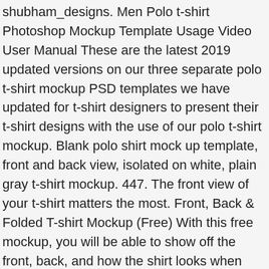shubham_designs. Men Polo t-shirt Photoshop Mockup Template Usage Video User Manual These are the latest 2019 updated versions on our three separate polo t-shirt mockup PSD templates we have updated for t-shirt designers to present their t-shirt designs with the use of our polo t-shirt mockup. Blank polo shirt mock up template, front and back view, isolated on white, plain gray t-shirt mockup. 447. The front view of your t-shirt matters the most. Front, Back & Folded T-shirt Mockup (Free) With this free mockup, you will be able to show off the front, back, and how the shirt looks when folded. T-shirt template. Search 123RF with an image instead of text. Download White t-shirt template with front and back Vector Art. Dimensions: 2400 × 1800 px. This second version of their women's T-shirt template comes with high-quality images of both front and back. This Photo-realistic PSD makes use of smart layers and allows the change of the t-shirt color. Free White T-shirt Mockup PSD (Front) 54. Vector Art. Thousands of new, high … 60. Like. It also comes with a smart layer to facilitate